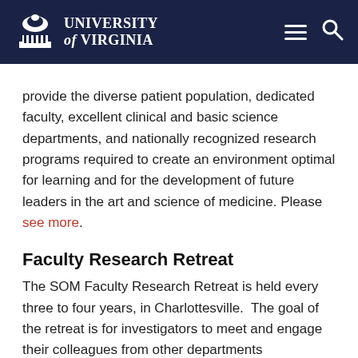University of Virginia
provide the diverse patient population, dedicated faculty, excellent clinical and basic science departments, and nationally recognized research programs required to create an environment optimal for learning and for the development of future leaders in the art and science of medicine. Please see more.
Faculty Research Retreat
The SOM Faculty Research Retreat is held every three to four years, in Charlottesville.  The goal of the retreat is for investigators to meet and engage their colleagues from other departments